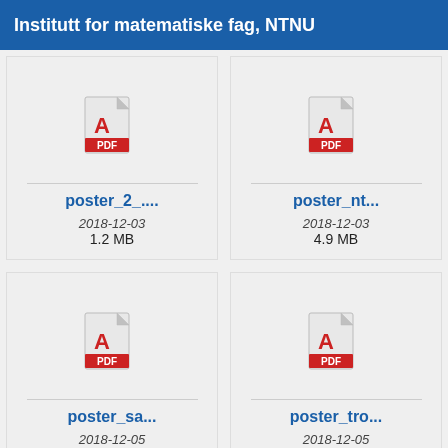Institutt for matematiske fag, NTNU
[Figure (screenshot): File browser showing four PDF file icons in a 2x2 grid. Top-left: poster_2_... dated 2018-12-03, 1.2 MB. Top-right: poster_nt... dated 2018-12-03, 4.9 MB. Bottom-left: poster_sa... dated 2018-12-05, 8.5 MB. Bottom-right: poster_tro... dated 2018-12-05, 5.5 MB.]